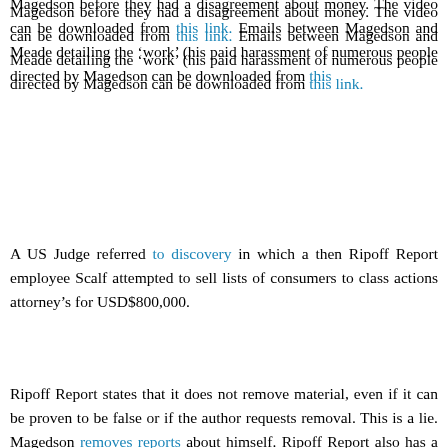Magedson before they had a disagreement about money. The video can be downloaded from this link. Emails between Magedson and Meade detailing the 'work' (his paid harassment of numerous people directed by Magedson can be downloaded from this link.
A US Judge referred to discovery in which a then Ripoff Report employee Scalf attempted to sell lists of consumers to class actions attorney's for USD$800,000.
Ripoff Report states that it does not remove material, even if it can be proven to be false or if the author requests removal. This is a lie. Magedson removes reports about himself. Ripoff Report also has a long history of removing or altering the content for a substantial payment.